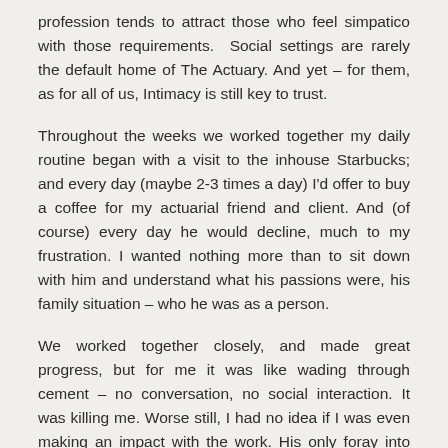profession tends to attract those who feel simpatico with those requirements.  Social settings are rarely the default home of The Actuary. And yet – for them, as for all of us, Intimacy is still key to trust.
Throughout the weeks we worked together my daily routine began with a visit to the inhouse Starbucks; and every day (maybe 2-3 times a day) I'd offer to buy a coffee for my actuarial friend and client. And (of course) every day he would decline, much to my frustration. I wanted nothing more than to sit down with him and understand what his passions were, his family situation – who he was as a person.
We worked together closely, and made great progress, but for me it was like wading through cement – no conversation, no social interaction. It was killing me. Worse still, I had no idea if I was even making an impact with the work. His only foray into 'real'